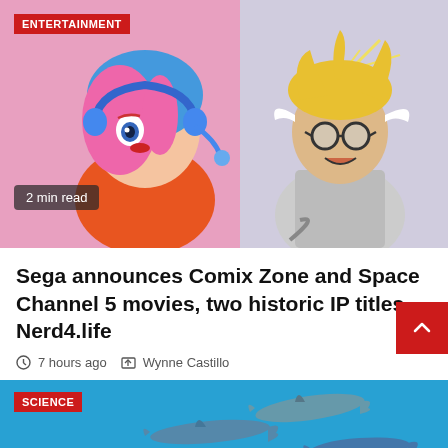[Figure (illustration): Hero image showing animated pink-haired female character with blue headset on left, and comic-style blonde male character with glasses on right. Red 'ENTERTAINMENT' badge top-left, '2 min read' badge bottom-left.]
Sega announces Comix Zone and Space Channel 5 movies, two historic IP titles – Nerd4.life
7 hours ago   Wynne Castillo
[Figure (photo): Blue underwater scene with dolphins/sharks swimming. Red 'SCIENCE' badge top-left.]